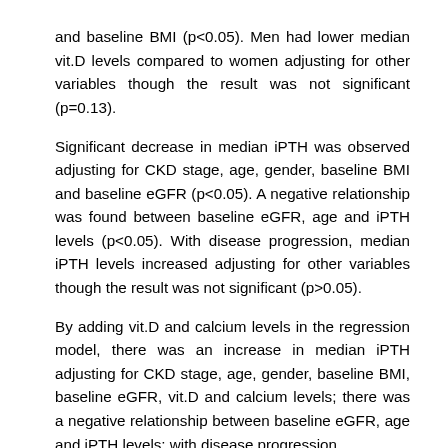and baseline BMI (p<0.05). Men had lower median vit.D levels compared to women adjusting for other variables though the result was not significant (p=0.13). Significant decrease in median iPTH was observed adjusting for CKD stage, age, gender, baseline BMI and baseline eGFR (p<0.05). A negative relationship was found between baseline eGFR, age and iPTH levels (p<0.05). With disease progression, median iPTH levels increased adjusting for other variables though the result was not significant (p>0.05). By adding vit.D and calcium levels in the regression model, there was an increase in median iPTH adjusting for CKD stage, age, gender, baseline BMI, baseline eGFR, vit.D and calcium levels; there was a negative relationship between baseline eGFR, age and iPTH levels; with disease progression,